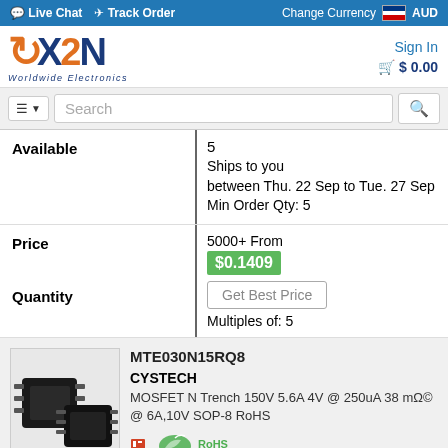Live Chat  Track Order    Change Currency  AUD
[Figure (logo): X2N Worldwide Electronics logo with orange and dark blue design]
Sign In
$ 0.00
Search
| Field | Value |
| --- | --- |
| Available | 5
Ships to you between Thu. 22 Sep to Tue. 27 Sep
Min Order Qty: 5 |
| Price | 5000+ From
$0.1409 |
| Quantity | Get Best Price
Multiples of: 5 |
MTE030N15RQ8
CYSTECH
MOSFET N Trench 150V 5.6A 4V @ 250uA 38 mΩ @ 6A,10V SOP-8 RoHS
[Figure (photo): Photo of SOP-8 MOSFET component chips]
[Figure (logo): RoHS green leaf logo]
Available  2